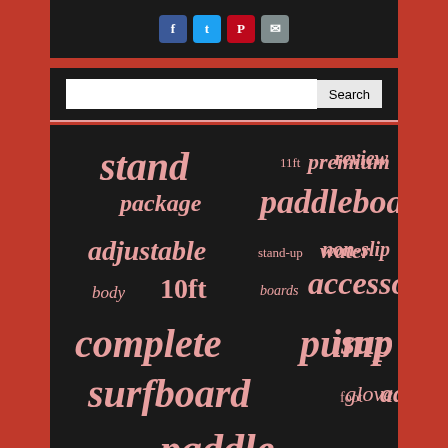[Figure (screenshot): Social share buttons: Facebook, Twitter, Pinterest, Email on dark background]
[Figure (screenshot): Search bar with text input and Search button on dark background]
[Figure (infographic): Word cloud on dark background featuring paddleboard/SUP related terms in salmon/pink color. Key words include: stand, paddleboard, adjustable, complete, pump, surfboard, paddle, board, inflatable, accessories, isup, aqua, backpack, thick, premium, review, package, non-slip, water, body, 10ft, boards, 11ft, stand-up, 10'6, foot, ancheer, bestway, surfing, deck, blue, glove]